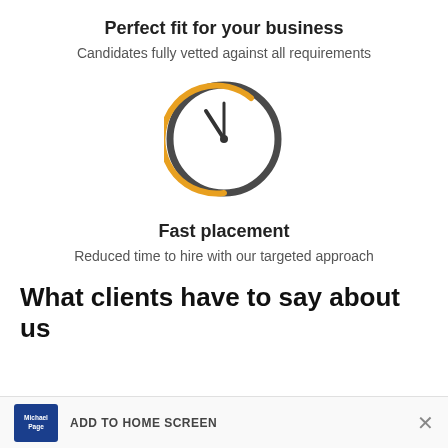Perfect fit for your business
Candidates fully vetted against all requirements
[Figure (illustration): Clock icon with orange arc and dark grey circular border, showing clock hands pointing to approximately 10 past 11]
Fast placement
Reduced time to hire with our targeted approach
What clients have to say about us
ADD TO HOME SCREEN